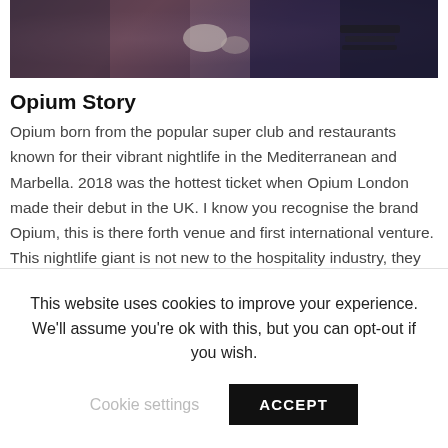[Figure (photo): Partial top image of a nightclub/restaurant scene with dark purple and teal tones, showing a table setting and DJ equipment in dim lighting]
Opium Story
Opium born from the popular super club and restaurants known for their vibrant nightlife in the Mediterranean and Marbella.  2018 was the hottest ticket when Opium London made their debut in the UK. I know you recognise the brand Opium, this is there forth venue and first international venture. This nightlife giant is not new to the hospitality industry, they are part of a portfolio of the very best nightclubs and restaurants owned and operated by Barcelona-based hospitality group. Costa Este Group owner of
This website uses cookies to improve your experience. We'll assume you're ok with this, but you can opt-out if you wish.